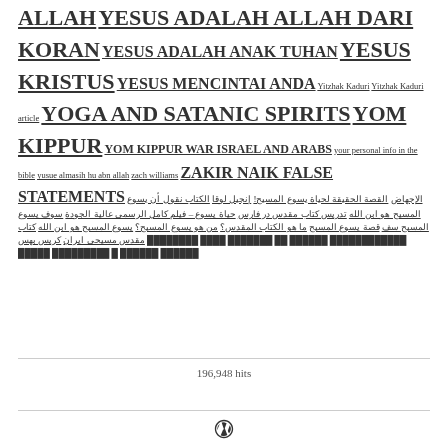ALLAH YESUS ADALAH ALLAH DARI KORAN YESUS ADALAH ANAK TUHAN YESUS KRISTUS YESUS MENCINTAI ANDA Yitzhak Kaduri Yitzhak Kaduri article YOGA AND SATANIC SPIRITS YOM KIPPUR YOM KIPPUR WAR ISRAEL AND ARABS your personal info in the bible yusue almasih hu abn allah zach williams zakir naik false statements الإجهاض القصة الحقيقة لحياة يسوع المسيح! إنجيل لوقا الكتاب نقول أن يسوع المسيح هو ابن الله تدريس كتاب مقدس در فارس حياة يسوع – فيلم كامل الرسمي عالية الجودة سوف يسوع المسيح سف قصة يسوع المسيح ما هو الكتاب المقدس؟ من هو يسوع المسيح؟ يسوع المسيح هو ابن الله كتاب مقدس مسيحي ايران كريس بهس ████████ ████ ███████ ██ ██████ ████████████ █████ █████████ █ ██████ ██████
196,948 hits